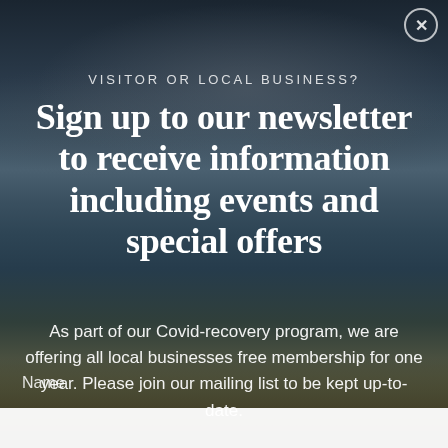VISITOR OR LOCAL BUSINESS?
Sign up to our newsletter to receive information including events and special offers
As part of our Covid-recovery program, we are offering all local businesses free membership for one year. Please join our mailing list to be kept up-to-date.
Name